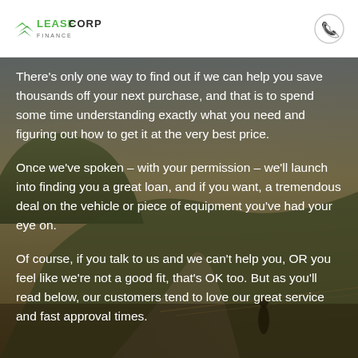LeaseCorp Finance
There's only one way to find out if we can help you save thousands off your next purchase, and that is to spend some time understanding exactly what you need and figuring out how to get it at the very best price.
Once we've spoken – with your permission – we'll launch into finding you a great loan, and if you want, a tremendous deal on the vehicle or piece of equipment you've had your eye on.
Of course, if you talk to us and we can't help you, OR you feel like we're not a good fit, that's OK too. But as you'll read below, our customers tend to love our great service and fast approval times.